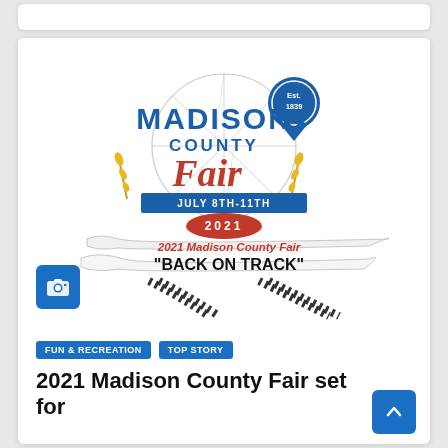[Figure (logo): Madison County Fair logo with 'Est. 1839' blue ribbon badge, 'MADISON COUNTY Fair' text, 'JULY 8TH-11TH 2021' banner, and '2021 Madison County Fair BACK ON TRACK' banner with tire tracks]
FUN & RECREATION
TOP STORY
2021 Madison County Fair set for